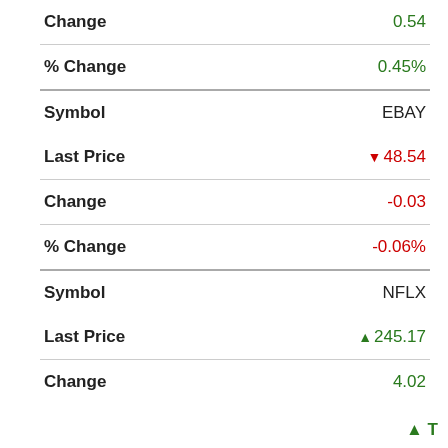| Field | Value |
| --- | --- |
| Change | 0.54 |
| % Change | 0.45% |
| Symbol | EBAY |
| Last Price | ▼ 48.54 |
| Change | -0.03 |
| % Change | -0.06% |
| Symbol | NFLX |
| Last Price | ▲ 245.17 |
| Change | 4.02 |